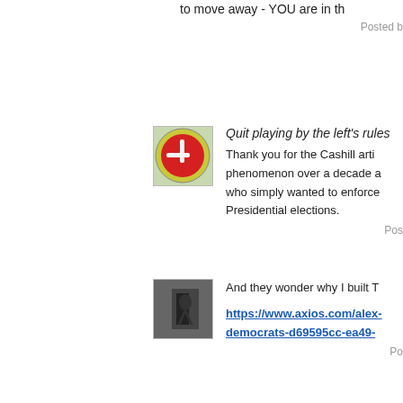to move away - YOU are in th
Posted b
[Figure (photo): Avatar image: round red object on green/yellow background]
Quit playing by the left's rules
Thank you for the Cashill arti phenomenon over a decade a who simply wanted to enforce Presidential elections.
Pos
[Figure (photo): Avatar image: dark room with figure in doorway]
And they wonder why I built T
https://www.axios.com/alex- democrats-d69595cc-ea49-
Po
[Figure (illustration): Avatar image: blue geometric/abstract pattern]
OL, I'm laughing at the Wall S and now have Maxine Waters